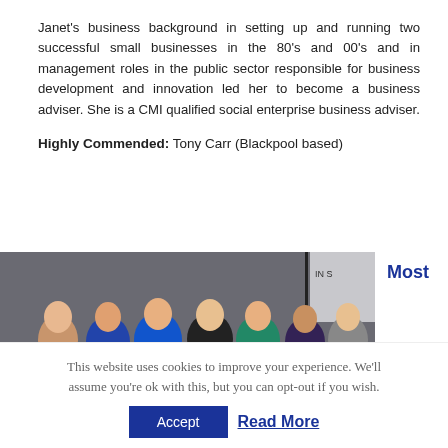Janet's business background in setting up and running two successful small businesses in the 80's and 00's and in management roles in the public sector responsible for business development and innovation led her to become a business adviser. She is a CMI qualified social enterprise business adviser.
Highly Commended: Tony Carr (Blackpool based)
[Figure (photo): Group photo of approximately 8 people standing together at an awards or business event, with a banner visible in the background. The word 'Most' appears in bold blue text to the right of the photo.]
This website uses cookies to improve your experience. We'll assume you're ok with this, but you can opt-out if you wish.
Accept   Read More